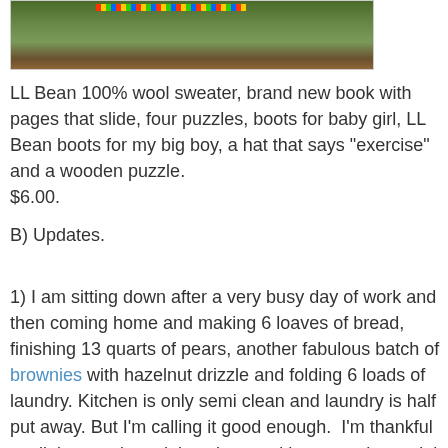[Figure (photo): Partial photo of items on an orange wooden surface with a colorful checkerboard/rainbow strip visible at the top]
LL Bean 100% wool sweater, brand new book with pages that slide, four puzzles, boots for baby girl, LL Bean boots for my big boy, a hat that says "exercise" and a wooden puzzle.
$6.00.
B) Updates.
1) I am sitting down after a very busy day of work and then coming home and making 6 loaves of bread, finishing 13 quarts of pears, another fabulous batch of brownies with hazelnut drizzle and folding 6 loads of laundry. Kitchen is only semi clean and laundry is half put away. But I'm calling it good enough.  I'm thankful my little ones love doing chores with me, such special times we share.
2) I totally linger in the kitchen after the jars are pulled from the canner, just to hear the pop.
3) My brother and his girlfriend are flying in tomorrow.  I'm pumped.
4) My husband commented that he knows what season it is